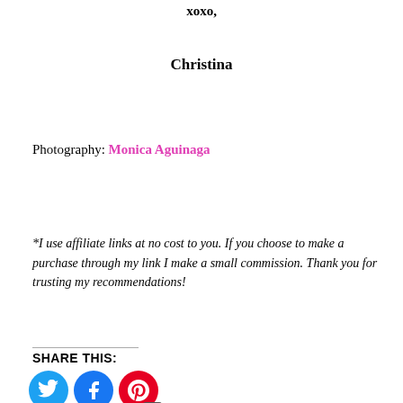xoxo,
Christina
Photography: Monica Aguinaga
*I use affiliate links at no cost to you. If you choose to make a purchase through my link I make a small commission. Thank you for trusting my recommendations!
SHARE THIS:
[Figure (other): Social share buttons: Twitter (blue bird icon), Facebook (blue f icon), Pinterest (red P icon with badge showing 206)]